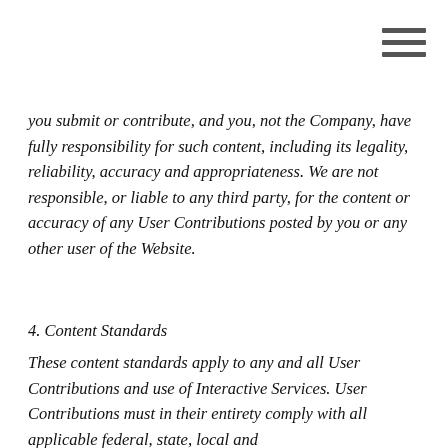you submit or contribute, and you, not the Company, have fully responsibility for such content, including its legality, reliability, accuracy and appropriateness. We are not responsible, or liable to any third party, for the content or accuracy of any User Contributions posted by you or any other user of the Website.
4. Content Standards
These content standards apply to any and all User Contributions and use of Interactive Services. User Contributions must in their entirety comply with all applicable federal, state, local and